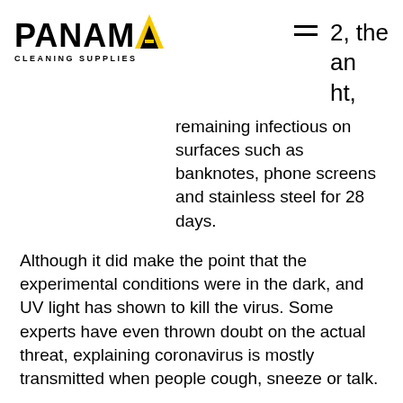[Figure (logo): Panama Cleaning Supplies logo with bold black text and yellow A]
2, the an ht,
remaining infectious on surfaces such as banknotes, phone screens and stainless steel for 28 days.
Although it did make the point that the experimental conditions were in the dark, and UV light has shown to kill the virus. Some experts have even thrown doubt on the actual threat, explaining coronavirus is mostly transmitted when people cough, sneeze or talk.
But there is also evidence that it can also spread by particles hanging in the air. It is also possible someone could get Covid-19 by touching